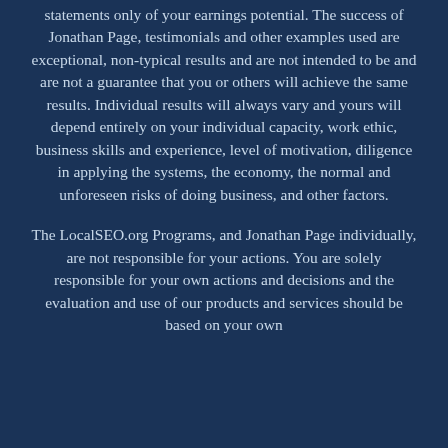statements only of your earnings potential. The success of Jonathan Page, testimonials and other examples used are exceptional, non-typical results and are not intended to be and are not a guarantee that you or others will achieve the same results. Individual results will always vary and yours will depend entirely on your individual capacity, work ethic, business skills and experience, level of motivation, diligence in applying the systems, the economy, the normal and unforeseen risks of doing business, and other factors.
The LocalSEO.org Programs, and Jonathan Page individually, are not responsible for your actions. You are solely responsible for your own actions and decisions and the evaluation and use of our products and services should be based on your own